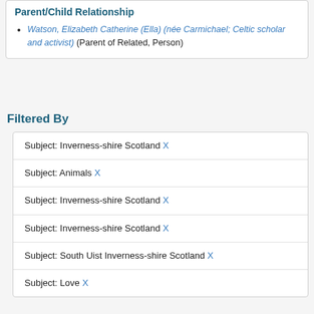Parent/Child Relationship
Watson, Elizabeth Catherine (Ella) (née Carmichael; Celtic scholar and activist) (Parent of Related, Person)
Filtered By
Subject: Inverness-shire Scotland X
Subject: Animals X
Subject: Inverness-shire Scotland X
Subject: Inverness-shire Scotland X
Subject: South Uist Inverness-shire Scotland X
Subject: Love X